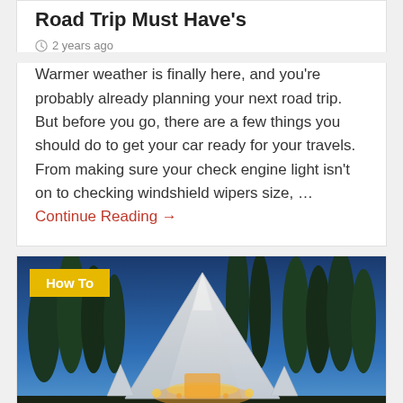Road Trip Must Have's
2 years ago
Warmer weather is finally here, and you're probably already planning your next road trip. But before you go, there are a few things you should do to get your car ready for your travels. From making sure your check engine light isn't on to checking windshield wipers size, … Continue Reading →
[Figure (photo): Outdoor glamping tent illuminated at twilight with tall cypress trees in background against a blue evening sky, with a yellow 'How To' badge overlay in upper left corner]